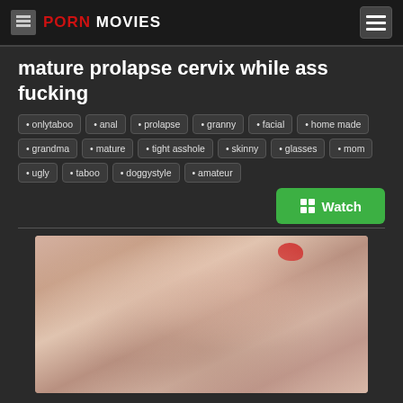PORN MOVIES
mature prolapse cervix while ass fucking
• onlytaboo • anal • prolapse • granny • facial • home made • grandma • mature • tight asshole • skinny • glasses • mom • ugly • taboo • doggystyle • amateur
[Figure (photo): Thumbnail image of adult content video]